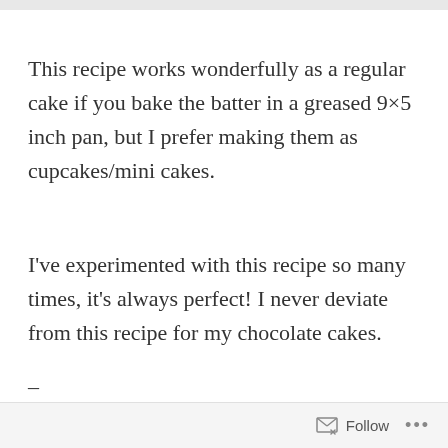This recipe works wonderfully as a regular cake if you bake the batter in a greased 9×5 inch pan, but I prefer making them as cupcakes/mini cakes.
I've experimented with this recipe so many times, it's always perfect! I never deviate from this recipe for my chocolate cakes.
–
-More pictures below-
Follow ...